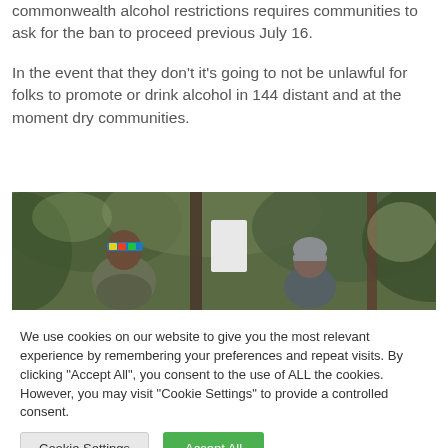commonwealth alcohol restrictions requires communities to ask for the ban to proceed previous July 16.
In the event that they don't it's going to not be unlawful for folks to promote or drink alcohol in 144 distant and at the moment dry communities.
[Figure (photo): Two people with their backs turned, standing outdoors in a wooded area with foliage in the background. One person on the left wears a colorful headband and camouflage jacket; one person on the right wears a grey beanie hat.]
We use cookies on our website to give you the most relevant experience by remembering your preferences and repeat visits. By clicking "Accept All", you consent to the use of ALL the cookies. However, you may visit "Cookie Settings" to provide a controlled consent.